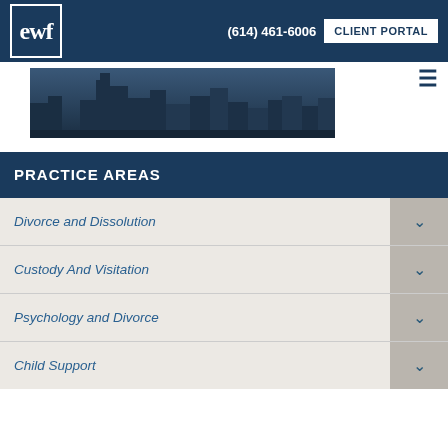EWF Law | (614) 461-6006 | CLIENT PORTAL
[Figure (photo): City skyline photo with blue-tinted overlay showing tall buildings]
PRACTICE AREAS
Divorce and Dissolution
Custody And Visitation
Psychology and Divorce
Child Support